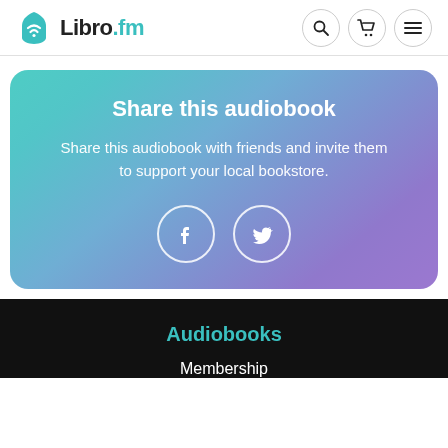Libro.fm
Share this audiobook
Share this audiobook with friends and invite them to support your local bookstore.
[Figure (other): Facebook and Twitter social share buttons (circular outline icons on gradient card)]
Audiobooks
Membership